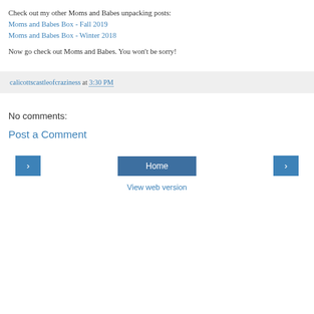Check out my other Moms and Babes unpacking posts:
Moms and Babes Box - Fall 2019
Moms and Babes Box - Winter 2018
Now go check out Moms and Babes. You won't be sorry!
calicottscastleofcraziness at 3:30 PM
No comments:
Post a Comment
‹  Home  ›
View web version